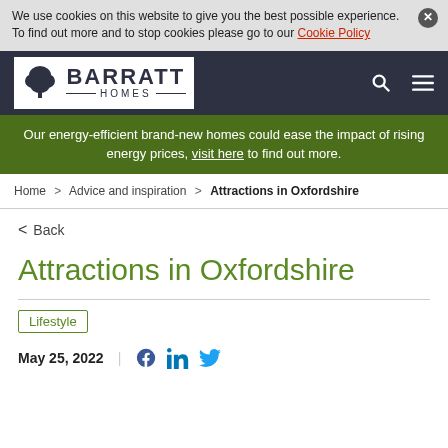We use cookies on this website to give you the best possible experience. To find out more and to stop cookies please go to our Cookie Policy
[Figure (logo): Barratt Homes logo with tree icon, white text on dark navy background, with search and menu icons]
Our energy-efficient brand-new homes could ease the impact of rising energy prices, visit here to find out more.
Home > Advice and inspiration > Attractions in Oxfordshire
< Back
Attractions in Oxfordshire
Lifestyle
May 25, 2022